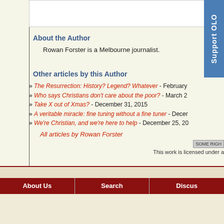[Figure (other): White image box / input area at top of page]
About the Author
Rowan Forster is a Melbourne journalist.
Other articles by this Author
» The Resurrection: History? Legend? Whatever - February
» Who says Christians don't care about the poor? - March 2
» Take X out of Xmas? - December 31, 2015
» A veritable miracle: fine tuning without a fine tuner - Decer
» We're Christian, and we're here to help - December 25, 20
All articles by Rowan Forster
This work is licensed under a
About Us | Search | Discus